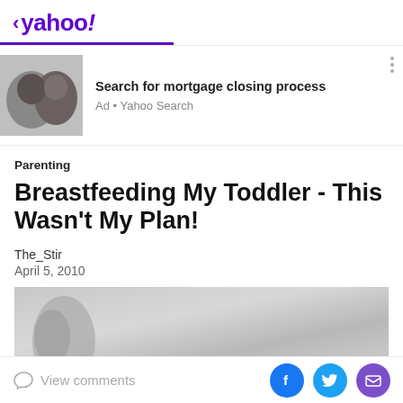< yahoo!
[Figure (photo): Yahoo ad banner showing a couple hugging and kissing, with text 'Search for mortgage closing process' and 'Ad • Yahoo Search']
Parenting
Breastfeeding My Toddler - This Wasn't My Plan!
The_Stir
April 5, 2010
[Figure (photo): Partial grayscale article image, appears to show blurred/close-up subject]
View comments